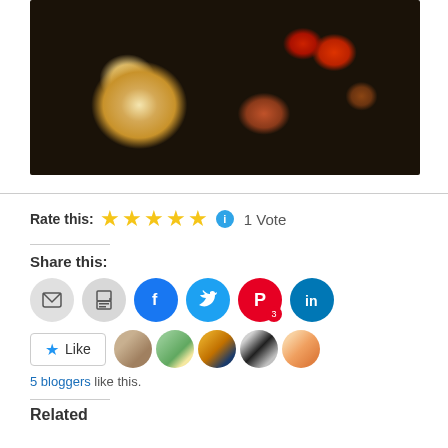[Figure (photo): Close-up photo of a seafood pasta dish with black squid ink noodles, scallops, mussels, and red peppers on a white plate]
Rate this: ★★★★★ ℹ 1 Vote
Share this:
[Figure (infographic): Social sharing buttons: email, print, Facebook, Twitter, Pinterest (3), LinkedIn]
[Figure (infographic): Like button with star and 5 blogger avatar thumbnails]
5 bloggers like this.
Related